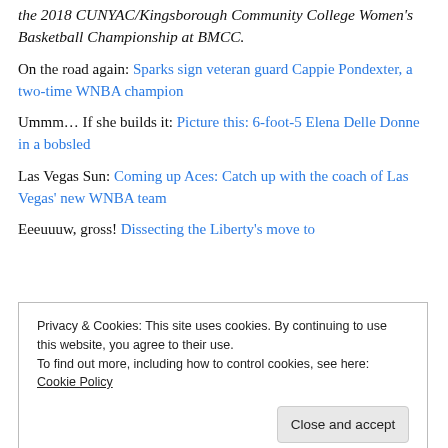the 2018 CUNYAC/Kingsborough Community College Women's Basketball Championship at BMCC.
On the road again: Sparks sign veteran guard Cappie Pondexter, a two-time WNBA champion
Ummm… If she builds it: Picture this: 6-foot-5 Elena Delle Donne in a bobsled
Las Vegas Sun: Coming up Aces: Catch up with the coach of Las Vegas' new WNBA team
Eeeuuuw, gross! Dissecting the Liberty's move to
Privacy & Cookies: This site uses cookies. By continuing to use this website, you agree to their use.
To find out more, including how to control cookies, see here: Cookie Policy
Close and accept